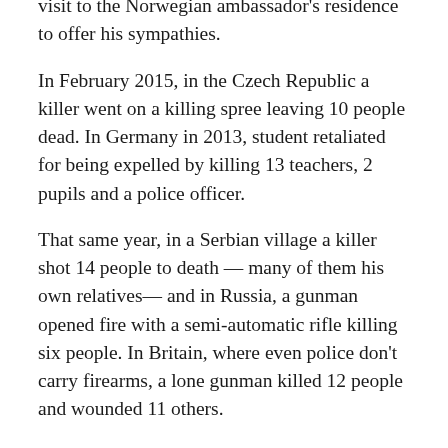visit to the Norwegian ambassador's residence to offer his sympathies.
In February 2015, in the Czech Republic a killer went on a killing spree leaving 10 people dead. In Germany in 2013, student retaliated for being expelled by killing 13 teachers, 2 pupils and a police officer.
That same year, in a Serbian village a killer shot 14 people to death — many of them his own relatives— and in Russia, a gunman opened fire with a semi-automatic rifle killing six people. In Britain, where even police don't carry firearms, a lone gunman killed 12 people and wounded 11 others.
In 2013, a man diagnosed as being mentally killed 12 children and seriously wounded another 12 in Rio de Janeiro, Brazil.  Even China, with its draconian gun laws, had an outbreak of mass stabbings, hammer and cleaver attacks not long ago. One man stabbed 22 children while